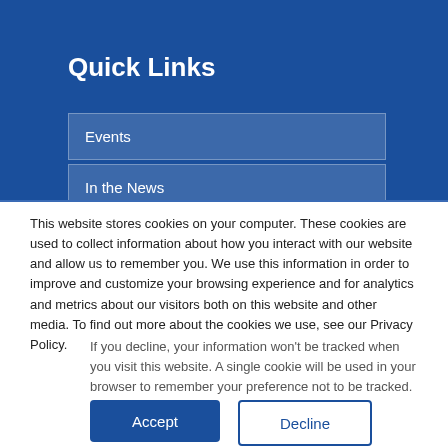Quick Links
Events
In the News
This website stores cookies on your computer. These cookies are used to collect information about how you interact with our website and allow us to remember you. We use this information in order to improve and customize your browsing experience and for analytics and metrics about our visitors both on this website and other media. To find out more about the cookies we use, see our Privacy Policy.
If you decline, your information won't be tracked when you visit this website. A single cookie will be used in your browser to remember your preference not to be tracked.
Accept
Decline